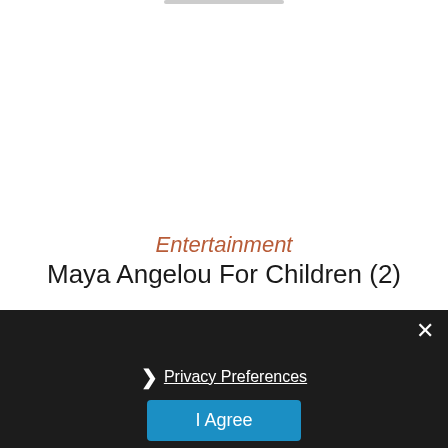Entertainment
Maya Angelou For Children (2)
Privacy Preferences
I Agree